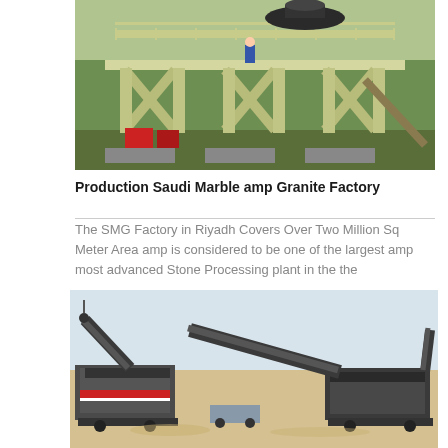[Figure (photo): Industrial stone crushing/processing plant structure with yellow steel frame, X-bracing supports, elevated platform with railings, and large cone crusher on top. Workers visible on the platform. Red machinery visible at base.]
Production Saudi Marble amp Granite Factory
The SMG Factory in Riyadh Covers Over Two Million Sq Meter Area amp is considered to be one of the largest amp most advanced Stone Processing plant in the the
[Figure (photo): Mobile stone crushing and conveyor plant equipment on a construction/mining site. Two large mobile crusher units with extended conveyor belts at an angle, set on sandy ground against a pale sky background.]